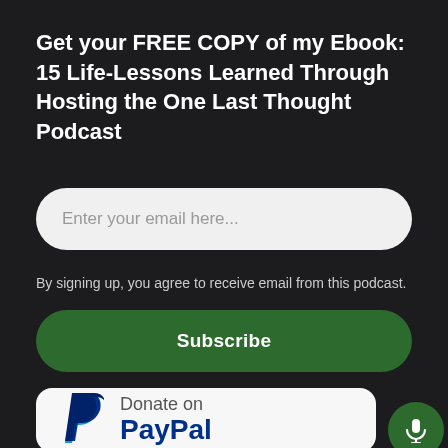Get your FREE COPY of my Ebook: 15 Life-Lessons Learned Through Hosting the One Last Thought Podcast
Enter your email here...
By signing up, you agree to receive email from this podcast.
Subscribe
[Figure (logo): PayPal donation button with PayPal logo (blue P icon) and text 'Donate on PayPal', with a green microphone button overlapping the bottom-right corner]